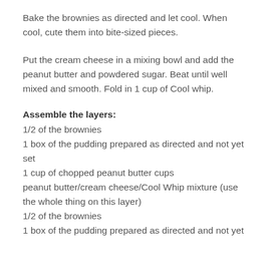Bake the brownies as directed and let cool. When cool, cute them into bite-sized pieces.
Put the cream cheese in a mixing bowl and add the peanut butter and powdered sugar. Beat until well mixed and smooth. Fold in 1 cup of Cool whip.
Assemble the layers:
1/2 of the brownies
1 box of the pudding prepared as directed and not yet set
1 cup of chopped peanut butter cups
peanut butter/cream cheese/Cool Whip mixture (use the whole thing on this layer)
1/2 of the brownies
1 box of the pudding prepared as directed and not yet set